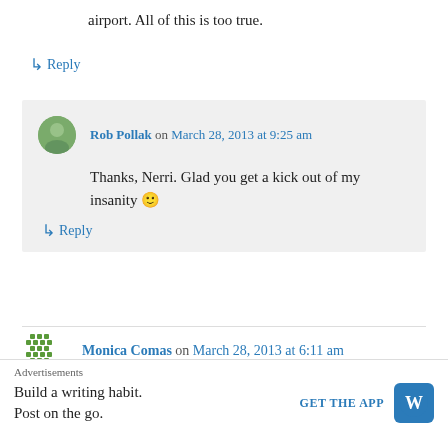airport. All of this is too true.
↳ Reply
Rob Pollak on March 28, 2013 at 9:25 am
Thanks, Nerri. Glad you get a kick out of my insanity 🙂
↳ Reply
Monica Comas on March 28, 2013 at 6:11 am
Am thrilled to see that I'm not the only one who
Advertisements
Build a writing habit.
Post on the go.
GET THE APP